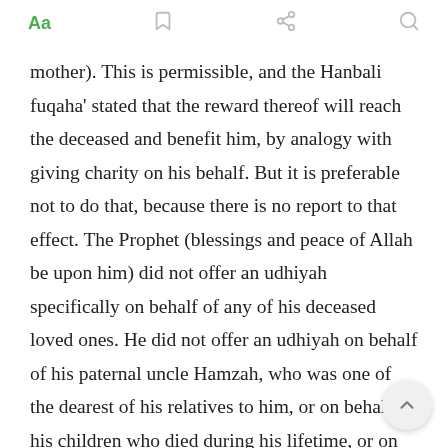Aa  [bookmark icon]  [share icon]  [search icon]
mother). This is permissible, and the Hanbali fuqaha' stated that the reward thereof will reach the deceased and benefit him, by analogy with giving charity on his behalf. But it is preferable not to do that, because there is no report to that effect. The Prophet (blessings and peace of Allah be upon him) did not offer an udhiyah specifically on behalf of any of his deceased loved ones. He did not offer an udhiyah on behalf of his paternal uncle Hamzah, who was one of the dearest of his relatives to him, or on behalf of his children who died during his lifetime, or on behalf of his wife Khadeejah, who was one of the dearest of his wives to him. And there is no report